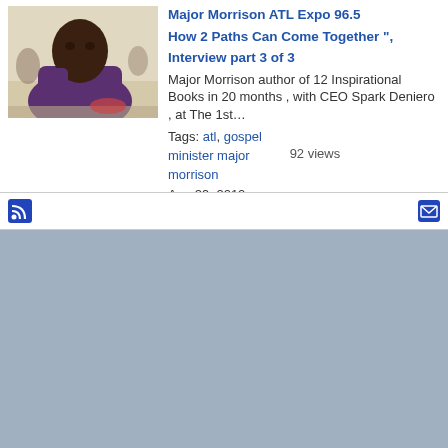[Figure (photo): Thumbnail photo of Major Morrison, a man in a purple shirt seated and resting his chin on his hand, in a room setting]
Major Morrison ATL Expo 96.5 How 2 Paths Can Come Together ", Interview part 3 of 3
Major Morrison author of 12 Inspirational Books in 20 months , with CEO Spark Deniero , at The 1st…
Tags: atl, gospel minister major morrison
92 views
Aug 29, 2010
RSS feed | Email icon